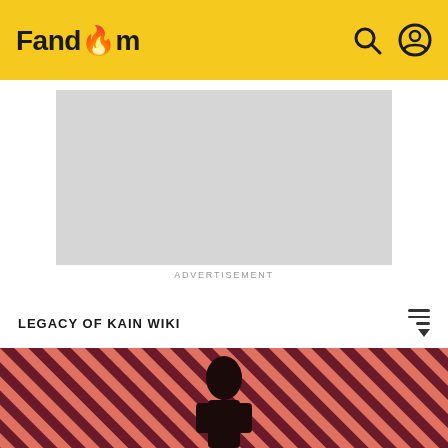Fandom
[Figure (other): Advertisement placeholder — grey rectangle with ADVERTISEMENT label below]
LEGACY OF KAIN WIKI
The Air Forge (chapter)
✏ EDIT
[Figure (photo): Bottom portion showing a figure against a salmon/red diagonal striped background]